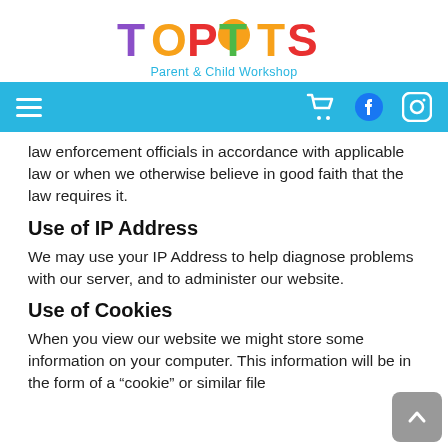[Figure (logo): Top Tots Parent & Child Workshop logo with colourful letters and tagline]
[Figure (screenshot): Navigation bar with hamburger menu, shopping cart, Facebook and Instagram icons on a sky-blue background]
law enforcement officials in accordance with applicable law or when we otherwise believe in good faith that the law requires it.
Use of IP Address
We may use your IP Address to help diagnose problems with our server, and to administer our website.
Use of Cookies
When you view our website we might store some information on your computer. This information will be in the form of a “cookie” or similar file